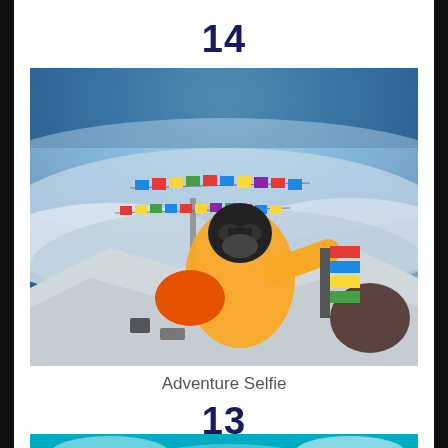14
[Figure (photo): Adventure selfie taken at high altitude mountain summit (likely Everest), showing a climber in yellow suit and oxygen mask surrounded by colorful prayer flags, with a sweeping fisheye view of clouds and sky below.]
Adventure Selfie
13